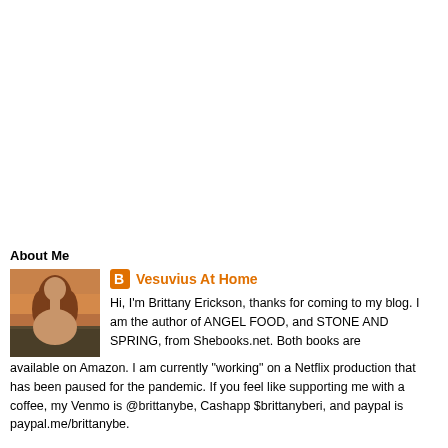About Me
[Figure (photo): Profile photo of a woman with long reddish-brown hair outdoors at sunset/dusk in a field]
Vesuvius At Home
Hi, I'm Brittany Erickson, thanks for coming to my blog. I am the author of ANGEL FOOD, and STONE AND SPRING, from Shebooks.net. Both books are available on Amazon. I am currently "working" on a Netflix production that has been paused for the pandemic. If you feel like supporting me with a coffee, my Venmo is @brittanybe, Cashapp $brittanyberi, and paypal is paypal.me/brittanybe.